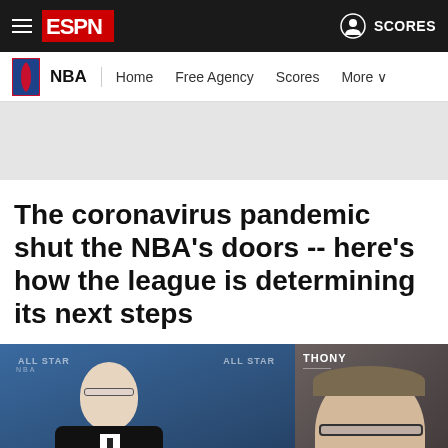ESPN — NBA — Home Free Agency Scores More — SCORES
The coronavirus pandemic shut the NBA's doors -- here's how the league is determining its next steps
[Figure (photo): Left photo: Adam Silver speaking at NBA All-Star podium; Right photo: ESPN reporter on video call background. Play button overlay in center-bottom of left photo.]